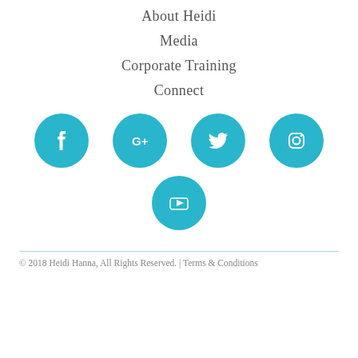About Heidi
Media
Corporate Training
Connect
[Figure (illustration): Five teal circular social media icons: Facebook (f), Google+ (G+), Twitter (bird), Instagram (camera), YouTube (play button)]
© 2018 Heidi Hanna, All Rights Reserved. | Terms & Conditions